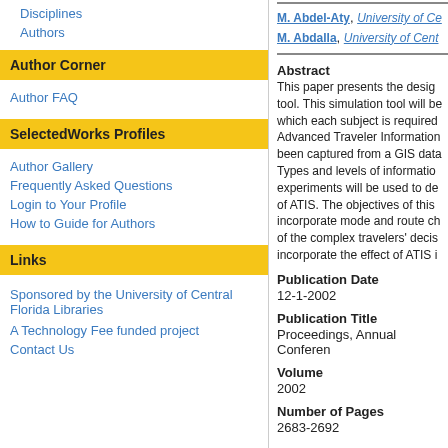Disciplines
Authors
Author Corner
Author FAQ
SelectedWorks Profiles
Author Gallery
Frequently Asked Questions
Login to Your Profile
How to Guide for Authors
Links
Sponsored by the University of Central Florida Libraries
A Technology Fee funded project
Contact Us
M. Abdel-Aty, University of Ce...
M. Abdalla, University of Cent...
Abstract
This paper presents the design of a simulation tool. This simulation tool will be... which each subject is required... Advanced Traveler Information... been captured from a GIS data... Types and levels of information... experiments will be used to de... of ATIS. The objectives of this... incorporate mode and route ch... of the complex travelers' decis... incorporate the effect of ATIS i...
Publication Date
12-1-2002
Publication Title
Proceedings, Annual Conferen...
Volume
2002
Number of Pages
2683-2692